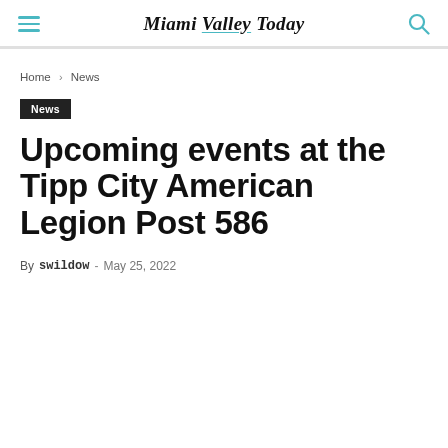Miami Valley Today
Home › News
News
Upcoming events at the Tipp City American Legion Post 586
By swildow - May 25, 2022